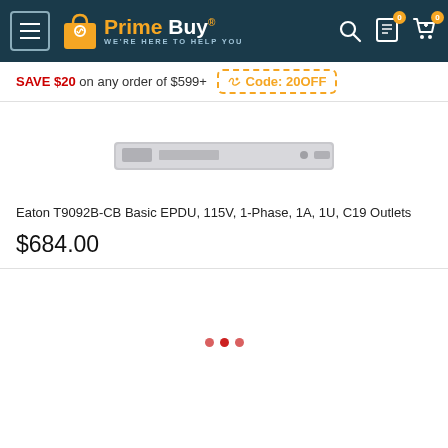Prime Buy - WE'RE HERE TO HELP YOU
SAVE $20 on any order of $599+ Code: 20OFF
[Figure (photo): Eaton T9092B-CB Basic EPDU rack unit device, shown as a flat 1U rack device in grey]
Eaton T9092B-CB Basic EPDU, 115V, 1-Phase, 1A, 1U, C19 Outlets
$684.00
[Figure (photo): Second product card with loading dots indicator (three red dots)]